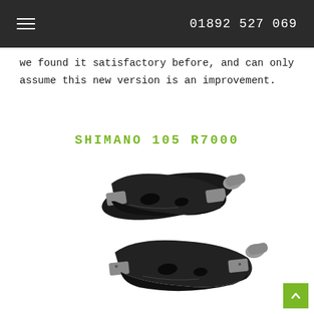≡  01892 527 069
we found it satisfactory before, and can only assume this new version is an improvement.
SHIMANO 105 R7000
[Figure (photo): Two Shimano 105 R7000 road bike pedals, black with silver/grey cleat contact plates, shown from a top-angled perspective, one above the other.]